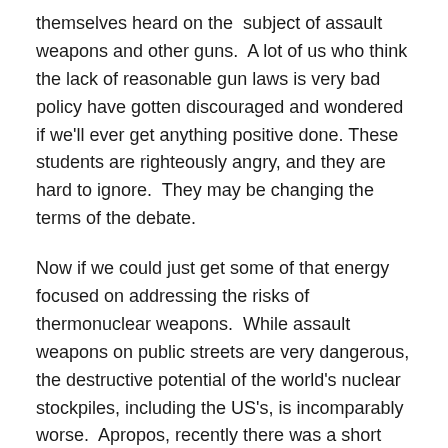themselves heard on the subject of assault weapons and other guns.  A lot of us who think the lack of reasonable gun laws is very bad policy have gotten discouraged and wondered if we'll ever get anything positive done. These students are righteously angry, and they are hard to ignore.  They may be changing the terms of the debate.
Now if we could just get some of that energy focused on addressing the risks of thermonuclear weapons.  While assault weapons on public streets are very dangerous, the destructive potential of the world's nuclear stockpiles, including the US's, is incomparably worse.  Apropos, recently there was a short interview with Daniel Ellsberg, who worked as a nuclear strategist in the 1960s.  In Ellsberg's view, only amazing luck accounts for our not already having had a nuclear apocalypse.